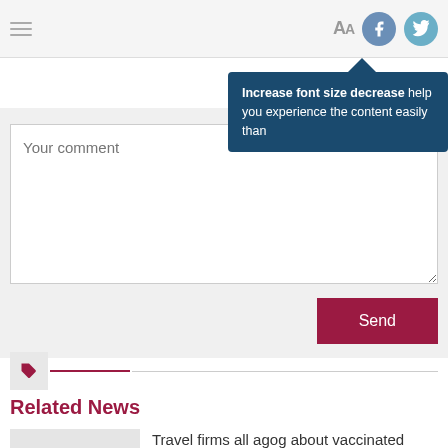Navigation bar with hamburger menu, font size (Aa), Facebook and Twitter icons
[Figure (screenshot): Tooltip popup with dark blue background showing text: Increase font size decrease help you experience the content easily than]
Your comment
Send
Related News
Travel firms all agog about vaccinated foreigners visiting Phu Quoc
Vaccine passport program readied for foreigners to visit Phu Quoc island